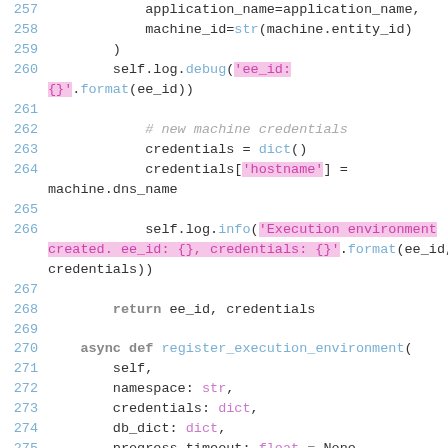[Figure (screenshot): Source code screenshot showing Python lines 257-276 with syntax highlighting. Lines include application_name, machine_id, self.log.debug, credentials dict setup, self.log.info, return statement, and async def register_execution_environment function definition with parameters.]